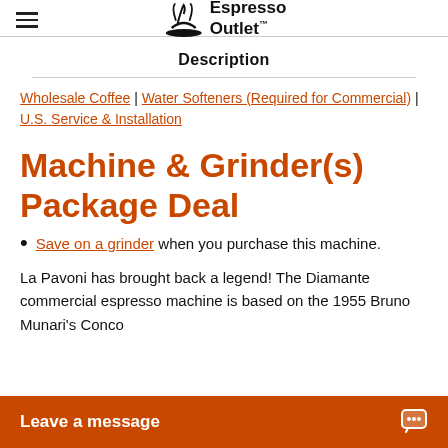Espresso Outlet™
Description
Wholesale Coffee | Water Softeners (Required for Commercial) | U.S. Service & Installation
Machine & Grinder(s) Package Deal
Save on a grinder when you purchase this machine.
La Pavoni has brought back a legend! The Diamante commercial espresso machine is based on the 1955 Bruno Munari's Conco... going for a coffee sho...